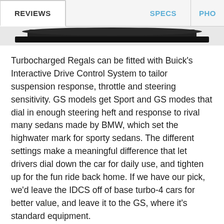REVIEWS | SPECS | PHO
[Figure (photo): Bottom portion of a dark-colored car, showing the roofline and windows against a white background]
Turbocharged Regals can be fitted with Buick's Interactive Drive Control System to tailor suspension response, throttle and steering sensitivity. GS models get Sport and GS modes that dial in enough steering heft and response to rival many sedans made by BMW, which set the highwater mark for sporty sedans. The different settings make a meaningful difference that let drivers dial down the car for daily use, and tighten up for the fun ride back home. If we have our pick, we'd leave the IDCS off of base turbo-4 cars for better value, and leave it to the GS, where it's standard equipment.